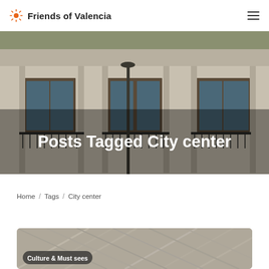Friends of Valencia
[Figure (photo): Ornate building facade with decorative ironwork balconies and detailed stone carvings, with a street lamp in the foreground. Hero banner image.]
Posts Tagged City center
Home / Tags / City center
[Figure (photo): Architectural detail card with a tag label reading 'Culture & Must sees']